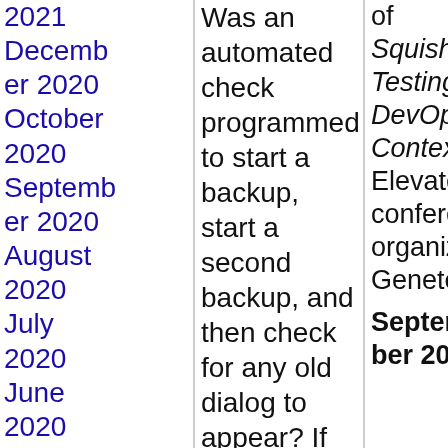2021
December 2020
October 2020
September 2020
August 2020
July 2020
June 2020
February 2020
December 2019
June
Was an automated check programmed to start a backup, start a second backup, and then check for any old dialog to appear? If so, the behaviour is as expected, and the check passed.
Was a test script given to a tester that included the instruction to start a backup, start a second backup, and then check for a dialog to appear, including the words “Failed to run now: task not executed”? Or any
Squish Right: Testing in a DevOps Context at the ElevateDev’22 conference, organized by Genetec.
September 20-